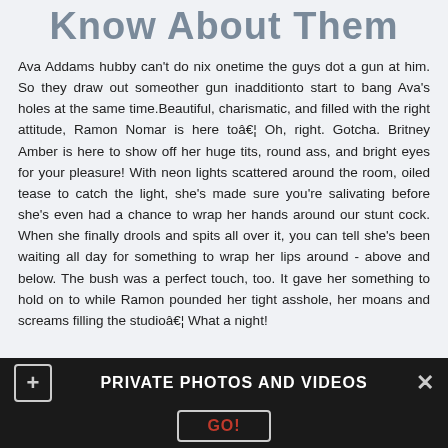Know About Them
Ava Addams hubby can't do nix onetime the guys dot a gun at him. So they draw out someother gun inadditionto start to bang Ava's holes at the same time.Beautiful, charismatic, and filled with the right attitude, Ramon Nomar is here toâ€¦ Oh, right. Gotcha. Britney Amber is here to show off her huge tits, round ass, and bright eyes for your pleasure! With neon lights scattered around the room, oiled tease to catch the light, she's made sure you're salivating before she's even had a chance to wrap her hands around our stunt cock. When she finally drools and spits all over it, you can tell she's been waiting all day for something to wrap her lips around - above and below. The bush was a perfect touch, too. It gave her something to hold on to while Ramon pounded her tight asshole, her moans and screams filling the studioâ€¦ What a night!
PRIVATE PHOTOS AND VIDEOS  GO!